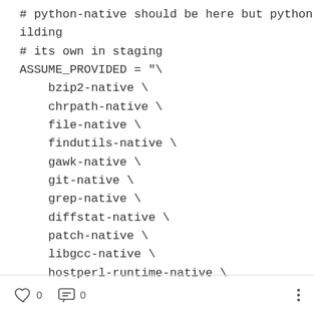# python-native should be here but python relies on building
# its own in staging
ASSUME_PROVIDED = "\
    bzip2-native \
    chrpath-native \
    file-native \
    findutils-native \
    gawk-native \
    git-native \
    grep-native \
    diffstat-native \
    patch-native \
    libgcc-native \
    hostperl-runtime-native \
0  0